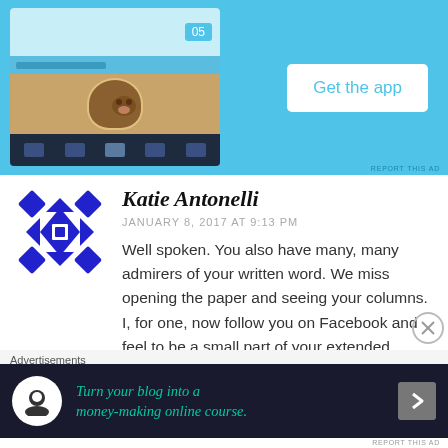[Figure (screenshot): Top advertisement banner with light blue background showing a mobile phone app screenshot and a 'Get the app' button]
REPORT THIS AD
Katie Antonelli
JANUARY 8, 2017 AT 9:13 PM
Well spoken. You also have many, many admirers of your written word. We miss opening the paper and seeing your columns. I, for one, now follow you on Facebook and feel to be a small part of your extended family. You are a
Advertisements
[Figure (screenshot): Dark advertisement banner: 'Turn your blog into a money-making online course.' with arrow button]